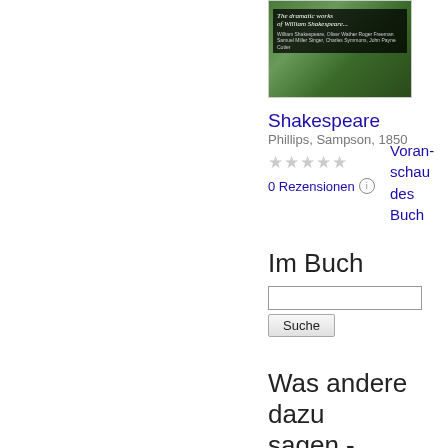[Figure (illustration): Book cover of 'The dramatic works of William Shakespeare...' with dark green background and black title bar]
Shakespeare
Phillips, Sampson, 1850
★★★★★
0 Rezensionen ⓘ
Voranschau des Buch
Im Buch
Was andere dazu sagen - Rezension
schreiben